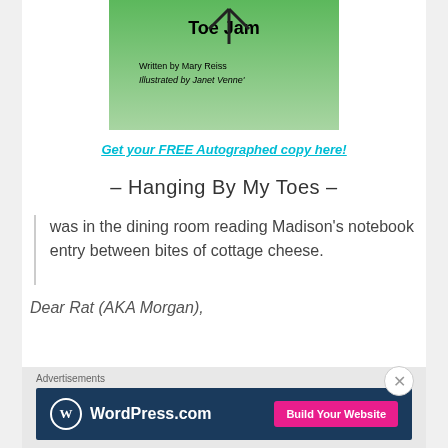[Figure (illustration): Book cover for 'Toe Jam' with green gradient background, title text, written by Mary Reiss, Illustrated by Janet Venne]
Get your FREE Autographed copy here!
– Hanging By My Toes –
was in the dining room reading Madison's notebook entry between bites of cottage cheese.
Dear Rat (AKA Morgan),
Advertisements
[Figure (other): WordPress.com advertisement banner with 'Build Your Website' button]